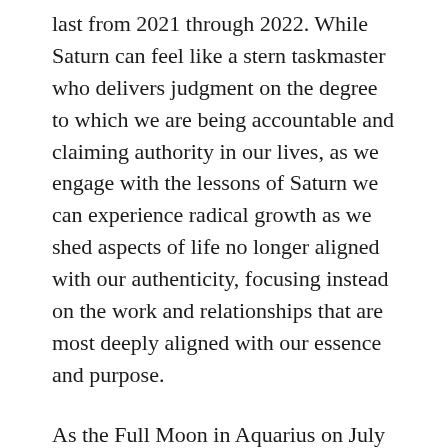last from 2021 through 2022. While Saturn can feel like a stern taskmaster who delivers judgment on the degree to which we are being accountable and claiming authority in our lives, as we engage with the lessons of Saturn we can experience radical growth as we shed aspects of life no longer aligned with our authenticity, focusing instead on the work and relationships that are most deeply aligned with our essence and purpose.
As the Full Moon in Aquarius on July 23 is applying toward a conjunction with Saturn, the lunation will illuminate the ways our lives have been reshaped, honed, strengthened, and irrevocably changed under the influence of